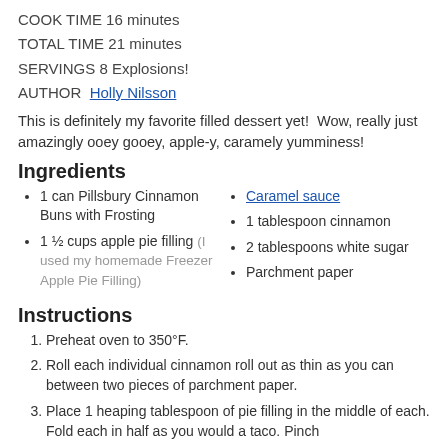COOK TIME 16 minutes
TOTAL TIME 21 minutes
SERVINGS 8 Explosions!
AUTHOR Holly Nilsson
This is definitely my favorite filled dessert yet!  Wow, really just amazingly ooey gooey, apple-y, caramely yumminess!
Ingredients
1 can Pillsbury Cinnamon Buns with Frosting
1 ½ cups apple pie filling (I used my homemade Freezer Apple Pie Filling)
Caramel sauce
1 tablespoon cinnamon
2 tablespoons white sugar
Parchment paper
Instructions
Preheat oven to 350°F.
Roll each individual cinnamon roll out as thin as you can between two pieces of parchment paper.
Place 1 heaping tablespoon of pie filling in the middle of each. Fold each in half as you would a taco. Pinch